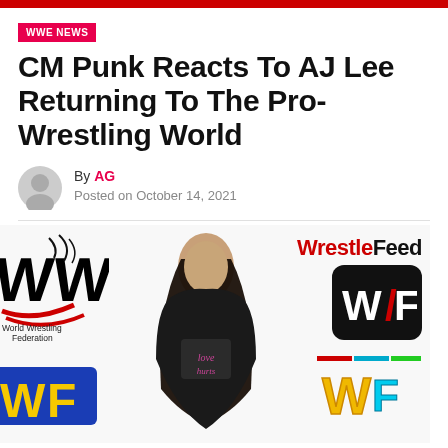WWE NEWS
CM Punk Reacts To AJ Lee Returning To The Pro-Wrestling World
By AG
Posted on October 14, 2021
[Figure (photo): Composite promotional image showing WWF logos, WrestleFeed branding, and a woman (AJ Lee) in a black top]